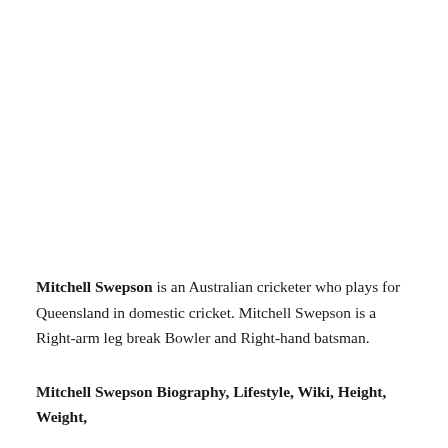Mitchell Swepson is an Australian cricketer who plays for Queensland in domestic cricket. Mitchell Swepson is a Right-arm leg break Bowler and Right-hand batsman.
Mitchell Swepson Biography, Lifestyle, Wiki, Height, Weight,